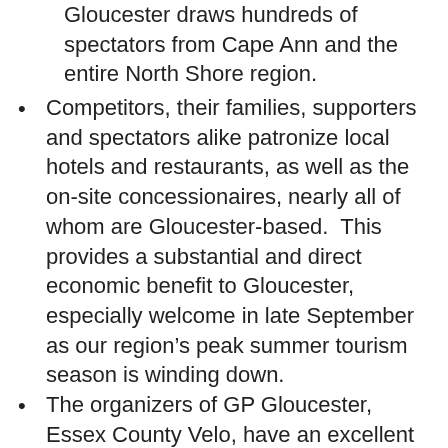Gloucester draws hundreds of spectators from Cape Ann and the entire North Shore region.
Competitors, their families, supporters and spectators alike patronize local hotels and restaurants, as well as the on-site concessionaires, nearly all of whom are Gloucester-based.  This provides a substantial and direct economic benefit to Gloucester, especially welcome in late September as our region’s peak summer tourism season is winding down.
The organizers of GP Gloucester, Essex County Velo, have an excellent record of responsibly, respectfully, and effectively mitigating and remediating the impacts to Stage Fort Park of the cyclo-cross competitions held there annually in late September or early October since 1999. In close consultation with the city’s parks professional, the Department of...